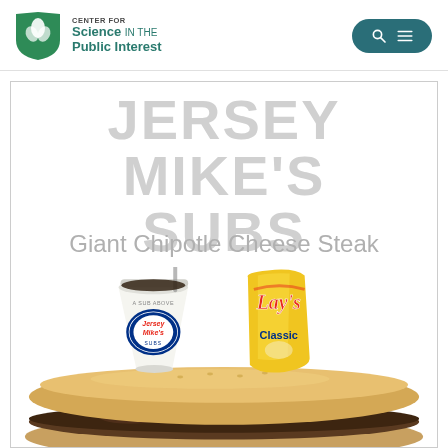[Figure (logo): Center for Science in the Public Interest logo — green shield/leaf icon with organization name text]
[Figure (other): Search/menu button (magnifying glass and hamburger menu icon) on dark teal rounded rectangle background]
JERSEY MIKE'S SUBS
Giant Chipotle Cheese Steak
[Figure (photo): Photo of Jersey Mike's meal: a large cheesesteak sub sandwich in the foreground, with a Jersey Mike's branded cup of soda (A SUB ABOVE) and a bag of Lay's Classic chips in the background]